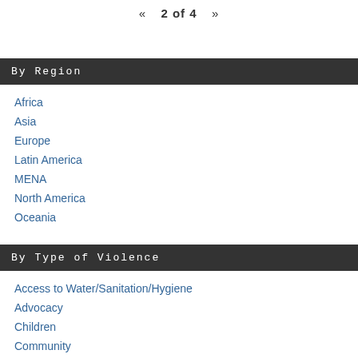« 2 of 4 »
By Region
Africa
Asia
Europe
Latin America
MENA
North America
Oceania
By Type of Violence
Access to Water/Sanitation/Hygiene
Advocacy
Children
Community